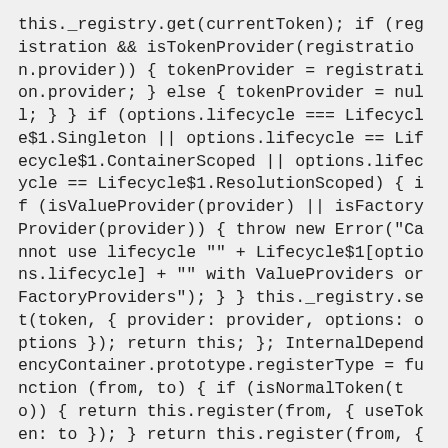this._registry.get(currentToken); if (registration && isTokenProvider(registration.provider)) { tokenProvider = registration.provider; } else { tokenProvider = null; } } if (options.lifecycle === Lifecycle$1.Singleton || options.lifecycle == Lifecycle$1.ContainerScoped || options.lifecycle == Lifecycle$1.ResolutionScoped) { if (isValueProvider(provider) || isFactoryProvider(provider)) { throw new Error("Cannot use lifecycle \"" + Lifecycle$1[options.lifecycle] + "\" with ValueProviders or FactoryProviders"); } } this._registry.set(token, { provider: provider, options: options }); return this; }; InternalDependencyContainer.prototype.registerType = function (from, to) { if (isNormalToken(to)) { return this.register(from, { useToken: to }); } return this.register(from, { useClass: to }); };